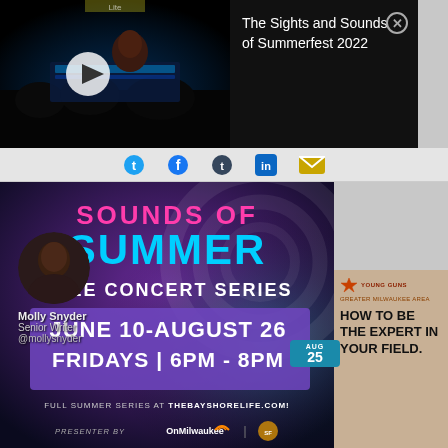[Figure (screenshot): Video thumbnail of a person at a sound mixing board at a concert venue with stage lighting, dark background]
The Sights and Sounds of Summerfest 2022
[Figure (infographic): Sounds of Summer Free Concert Series promotional graphic - June 10-August 26, Fridays 6PM-8PM, purple/teal color scheme with social media icons overlay]
Molly Snyder
Senior Writer
@mollysnyder
FULL SUMMER SERIES AT THEBAYSHORELIFE.COM!
PRESENTER BY OnMilwaukee
[Figure (advertisement): Young Guns advertisement - HOW TO BE THE EXPERT IN YOUR FIELD.]